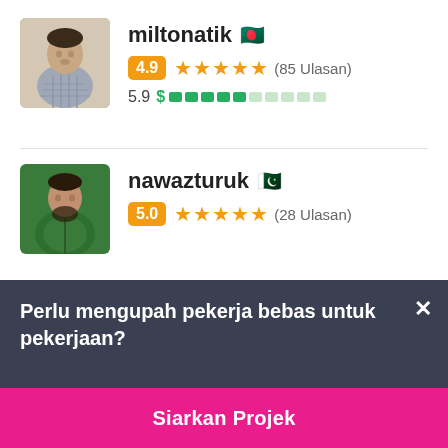[Figure (photo): Profile photo of miltonatik, a man in a checkered shirt]
miltonatik 🇧🇩
4.9 ★★★★★ (85 Ulasan)
5.9 $ ▓▓▓▓▓░░░░░
[Figure (photo): Profile photo of nawazturuk, a man in a green top]
nawazturuk 🇵🇰
5.0 ★★★★★ (28 Ulasan)
Perlu mengupah pekerja bebas untuk pekerjaan?
Siarkan Projek